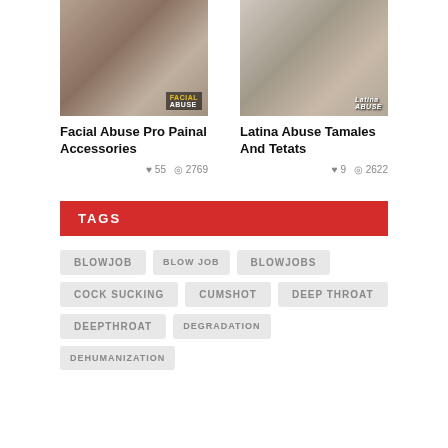[Figure (photo): Thumbnail image left - Facial Abuse Pro Painal Accessories]
[Figure (photo): Thumbnail image right - Latina Abuse Tamales And Tetats]
Facial Abuse Pro Painal Accessories
♥ 55  ◎ 2769
Latina Abuse Tamales And Tetats
♥ 9  ◎ 2622
TAGS
BLOWJOB
BLOW JOB
BLOWJOBS
COCK SUCKING
CUMSHOT
DEEP THROAT
DEEPTHROAT
DEGRADATION
DEHUMANIZATION